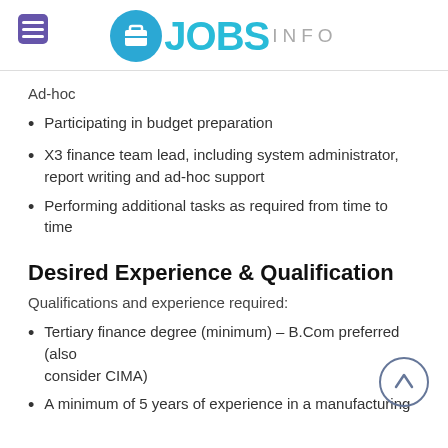JOBS INFO
Ad-hoc
Participating in budget preparation
X3 finance team lead, including system administrator, report writing and ad-hoc support
Performing additional tasks as required from time to time
Desired Experience & Qualification
Qualifications and experience required:
Tertiary finance degree (minimum) – B.Com preferred (also consider CIMA)
A minimum of 5 years of experience in a manufacturing